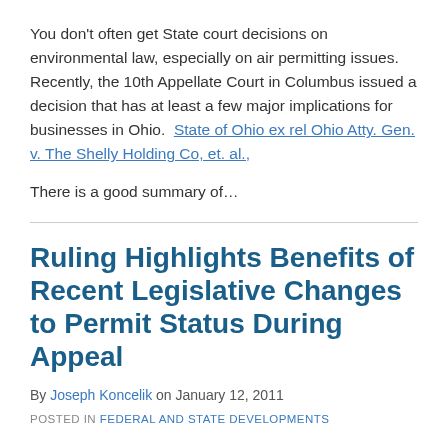You don't often get State court decisions on environmental law, especially on air permitting issues.  Recently, the 10th Appellate Court in Columbus issued a decision that has at least a few major implications for businesses in Ohio.  State of Ohio ex rel Ohio Atty. Gen. v. The Shelly Holding Co, et. al.,
There is a good summary of…
Ruling Highlights Benefits of Recent Legislative Changes to Permit Status During Appeal
By Joseph Koncelik on January 12, 2011
POSTED IN FEDERAL AND STATE DEVELOPMENTS